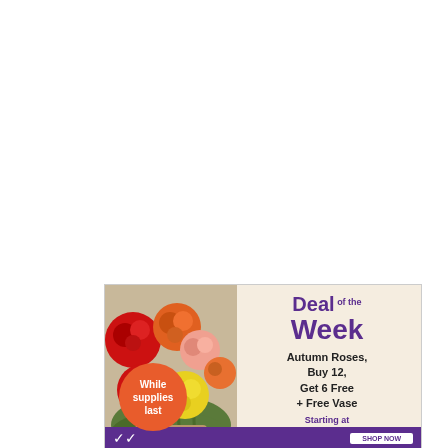[Figure (illustration): Advertisement for flower shop deal: colorful autumn roses (red, orange, yellow) in a vase on the left side with a coral/orange badge reading 'While supplies last'. Right side on cream background shows 'Deal of the Week', product details 'Autumn Roses, Buy 12, Get 6 Free + Free Vase', and price 'Starting at $29.99'. Purple footer bar at bottom.]